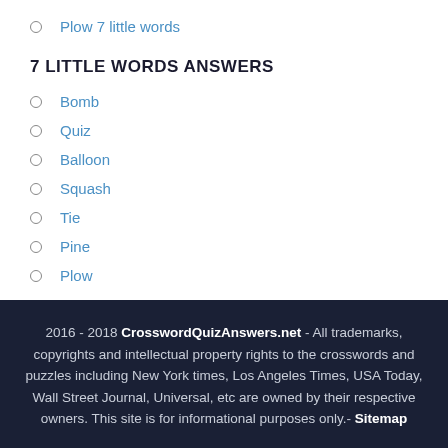Plow 7 little words
7 LITTLE WORDS ANSWERS
Bomb
Quiz
Balloon
Squash
Tie
Pine
Plow
2016 - 2018 CrosswordQuizAnswers.net - All trademarks, copyrights and intellectual property rights to the crosswords and puzzles including New York times, Los Angeles Times, USA Today, Wall Street Journal, Universal, etc are owned by their respective owners. This site is for informational purposes only.- Sitemap